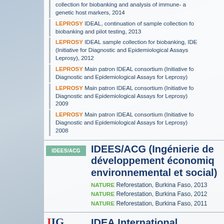LEPROSY collection for biobanking and analysis of immune- and genetic host markers, 2014
LEPROSY IDEAL, continuation of sample collection for biobanking and pilot testing, 2013
LEPROSY IDEAL sample collection for biobanking, IDEAL (Initiative for Diagnostic and Epidemiological Assays Leprosy), 2012
LEPROSY Main patron IDEAL consortium (Initiative for Diagnostic and Epidemiological Assays for Leprosy)
LEPROSY Main patron IDEAL consortium (Initiative for Diagnostic and Epidemiological Assays for Leprosy) 2009
LEPROSY Main patron IDEAL consortium (Initiative for Diagnostic and Epidemiological Assays for Leprosy) 2008
IDEES/ACG (Ingénierie de développement économique, environnemental et social)
NATURE Reforestation, Burkina Faso, 2013
NATURE Reforestation, Burkina Faso, 2012
NATURE Reforestation, Burkina Faso, 2011
IDEA International